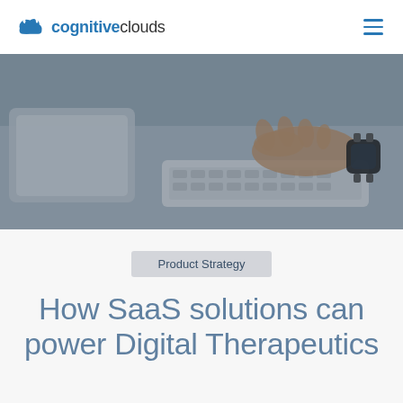cognitiveclouds
[Figure (photo): A hand typing on a white Apple keyboard on a desk, with a smartwatch visible on the wrist. The photo has a slightly dark/muted tone.]
Product Strategy
How SaaS solutions can power Digital Therapeutics